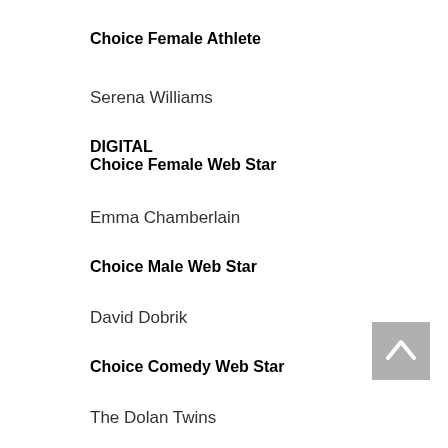Choice Female Athlete
Serena Williams
DIGITAL
Choice Female Web Star
Emma Chamberlain
Choice Male Web Star
David Dobrik
Choice Comedy Web Star
The Dolan Twins
Choice Social Star